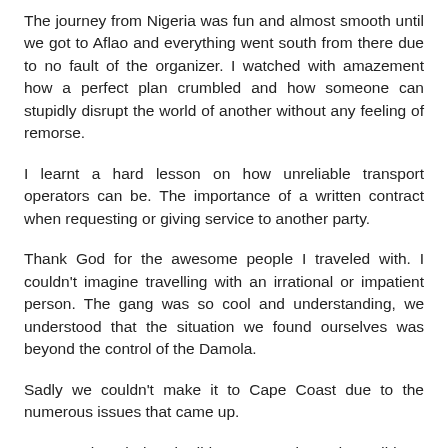The journey from Nigeria was fun and almost smooth until we got to Aflao and everything went south from there due to no fault of the organizer. I watched with amazement how a perfect plan crumbled and how someone can stupidly disrupt the world of another without any feeling of remorse.
I learnt a hard lesson on how unreliable transport operators can be. The importance of a written contract when requesting or giving service to another party.
Thank God for the awesome people I traveled with. I couldn't imagine travelling with an irrational or impatient person. The gang was so cool and understanding, we understood that the situation we found ourselves was beyond the control of the Damola.
Sadly we couldn't make it to Cape Coast due to the numerous issues that came up.
So even though the trip did not go as planned, we did our best to enjoy every moment.